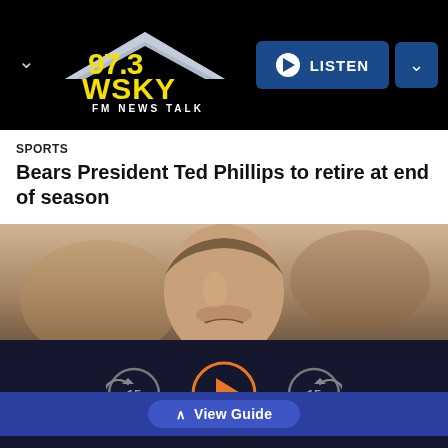[Figure (logo): 97.3 WSKY FM News Talk radio station logo with yellow text and silver wing design on black background]
[Figure (other): Listen button with play icon and dropdown chevron button, blue background]
SPORTS
Bears President Ted Phillips to retire at end of season
[Figure (photo): Close-up photo of a man in a dark suit, partial face visible]
[Figure (other): View Guide button with upward chevron on blue bar]
[Figure (other): Audio player controls: skip back 15, play button (orange circle), skip forward 15]